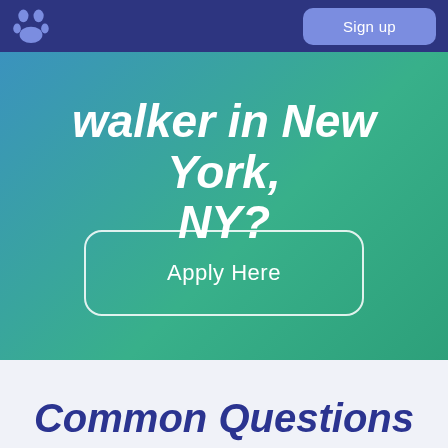Sign up
walker in New York, NY?
Apply Here
Common Questions